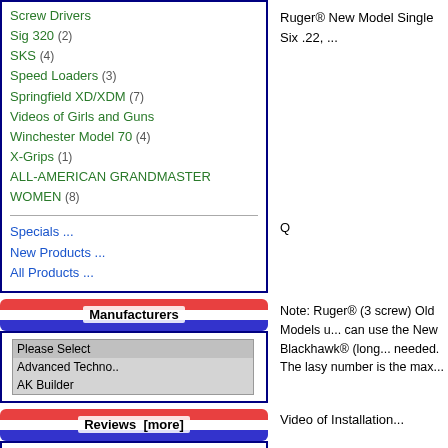Screw Drivers
Sig 320 (2)
SKS (4)
Speed Loaders (3)
Springfield XD/XDM (7)
Videos of Girls and Guns
Winchester Model 70 (4)
X-Grips (1)
ALL-AMERICAN GRANDMASTER WOMEN (8)
Specials ...
New Products ...
All Products ...
Manufacturers
Please Select
Advanced Techno..
AK Builder
Reviews  [more]
[Figure (photo): Photo of two screwdriver bits or tools on a dark background]
Randal was helpful in getting what I needed and very quick...
★★★★★
Ruger® New Model Single Six .22, ...
Q
Note: Ruger® (3 screw) Old Models u... can use the New Blackhawk® (long... needed. The lasy number is the max...
Video of Installation...